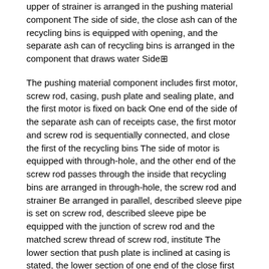upper of strainer is arranged in the pushing material component The side of side, the close ash can of the recycling bins is equipped with opening, and the separate ash can of recycling bins is arranged in the component that draws water Side
The pushing material component includes first motor, screw rod, casing, push plate and sealing plate, and the first motor is fixed on back One end of the side of the separate ash can of receipts case, the first motor and screw rod is sequentially connected, and close the first of the recycling bins The side of motor is equipped with through-hole, and the other end of the screw rod passes through the inside that recycling bins are arranged in through-hole, the screw rod and strainer Be arranged in parallel, described sleeve pipe is set on screw rod, described sleeve pipe be equipped with the junction of screw rod and the matched screw thread of screw rod, institute The lower section that push plate is inclined at casing is stated, the lower section of one end of the close first motor of one end and casing of the push plate is fixed Connection, the other end and strainer of the push plate are against the side of the close ash can of recycling bins